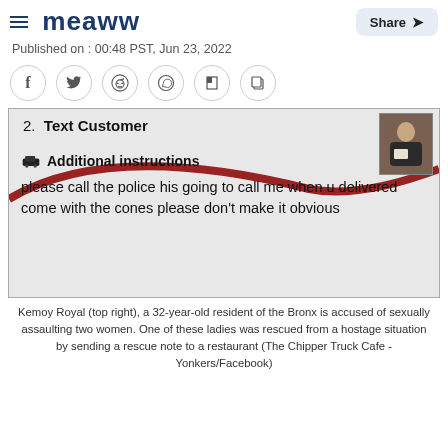Meaww — Share
Published on : 00:48 PST, Jun 23, 2022
[Figure (screenshot): Screenshot of a food delivery app showing: '2. Text Customer' header, a car icon with 'Additional instructions' label in bold, and text reading: 'please call the police his going to call me when u delivered come with the cones please don't make it obvious'. A small photo of a man reading a book appears in the top right corner.]
Kemoy Royal (top right), a 32-year-old resident of the Bronx is accused of sexually assaulting two women. One of these ladies was rescued from a hostage situation by sending a rescue note to a restaurant (The Chipper Truck Cafe - Yonkers/Facebook)